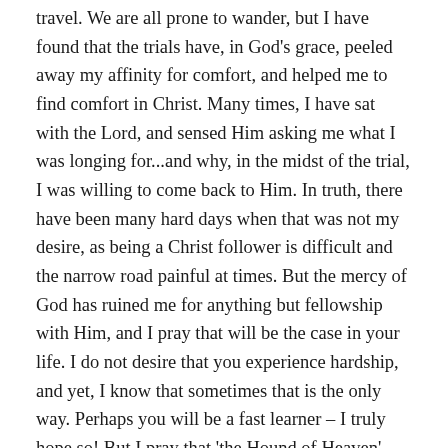travel. We are all prone to wander, but I have found that the trials have, in God's grace, peeled away my affinity for comfort, and helped me to find comfort in Christ. Many times, I have sat with the Lord, and sensed Him asking me what I was longing for...and why, in the midst of the trial, I was willing to come back to Him. In truth, there have been many hard days when that was not my desire, as being a Christ follower is difficult and the narrow road painful at times. But the mercy of God has ruined me for anything but fellowship with Him, and I pray that will be the case in your life. I do not desire that you experience hardship, and yet, I know that sometimes that is the only way. Perhaps you will be a fast learner – I truly hope so! But I pray that 'the Hound of Heaven' would pursue your heart in the midst of it all, and just like Simon Peter, you would have no where to go but the Holy One of God, to be filled with